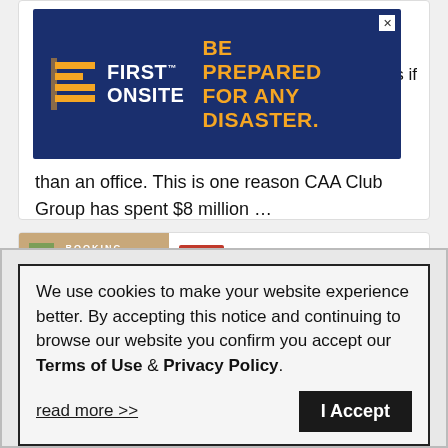[Figure (screenshot): First Onsite advertisement banner with dark blue background, orange logo icon and text 'FIRST ONSITE', and orange bold tagline 'BE PREPARED FOR ANY DISASTER.']
than an office. This is one reason CAA Club Group has spent $8 million …
[Figure (photo): Thumbnail image showing a booking or office interior scene with warm tones and 'BOOKING' label overlay]
News
Claims   Insurance   Markets / Coverages
We use cookies to make your website experience better. By accepting this notice and continuing to browse our website you confirm you accept our Terms of Use & Privacy Policy.

read more >>
accommodations through